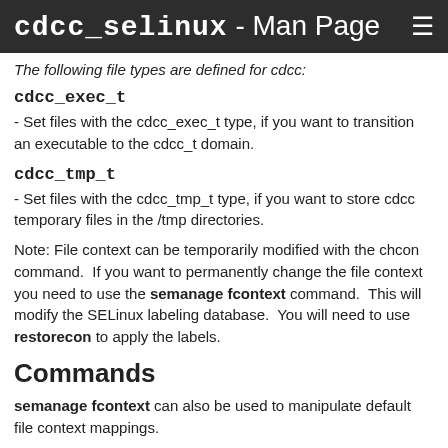cdcc_selinux - Man Page ☰
The following file types are defined for cdcc:
cdcc_exec_t
- Set files with the cdcc_exec_t type, if you want to transition an executable to the cdcc_t domain.
cdcc_tmp_t
- Set files with the cdcc_tmp_t type, if you want to store cdcc temporary files in the /tmp directories.
Note: File context can be temporarily modified with the chcon command.  If you want to permanently change the file context you need to use the semanage fcontext command.  This will modify the SELinux labeling database.  You will need to use restorecon to apply the labels.
Commands
semanage fcontext can also be used to manipulate default file context mappings.